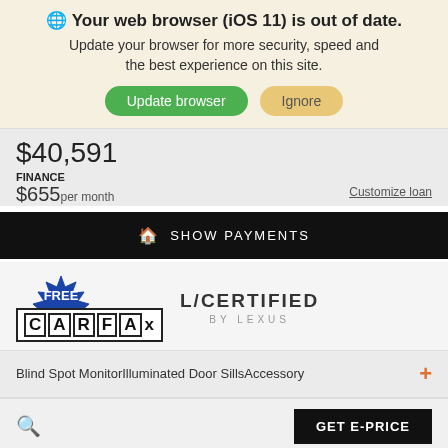🌐 Your web browser (iOS 11) is out of date. Update your browser for more security, speed and the best experience on this site.
Update browser | Ignore
$40,591
FINANCE $655 per month
Customize loan
SHOW PAYMENTS
[Figure (logo): FREE CARFAX logo badge - starburst badge with FREE text over CARFAX logo]
L/CERTIFIED BY LEXUS
Blind Spot MonitorIlluminated Door SillsAccessory
GET E-PRICE
Filter  Saved  Share  Contact